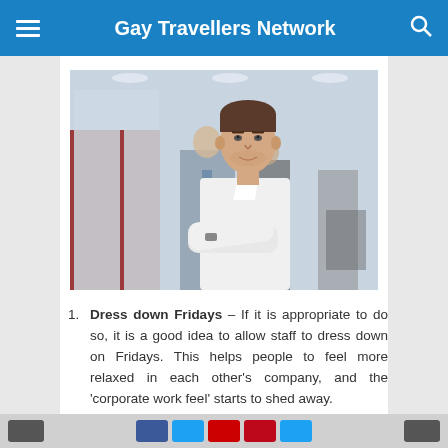Gay Travellers Network
[Figure (photo): A man in a white shirt standing with arms crossed in a blurred office environment with colleagues in the background]
Dress down Fridays – If it is appropriate to do so, it is a good idea to allow staff to dress down on Fridays. This helps people to feel more relaxed in each other's company, and the 'corporate work feel' starts to shed away.